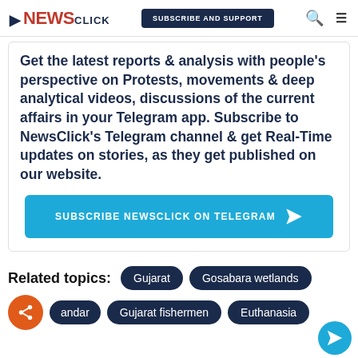NewsClick | SUBSCRIBE AND SUPPORT
Get the latest reports & analysis with people's perspective on Protests, movements & deep analytical videos, discussions of the current affairs in your Telegram app. Subscribe to NewsClick's Telegram channel & get Real-Time updates on stories, as they get published on our website.
SUBSCRIBE NEWSCLICK ON TELEGRAM
Related topics: Gujarat | Gosabara wetlands | andar | Gujarat fishermen | Euthanasia